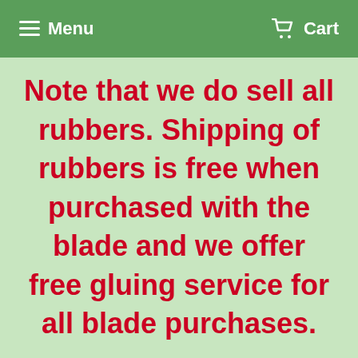Menu  Cart
Note that we do sell all rubbers. Shipping of rubbers is free when purchased with the blade and we offer free gluing service for all blade purchases.